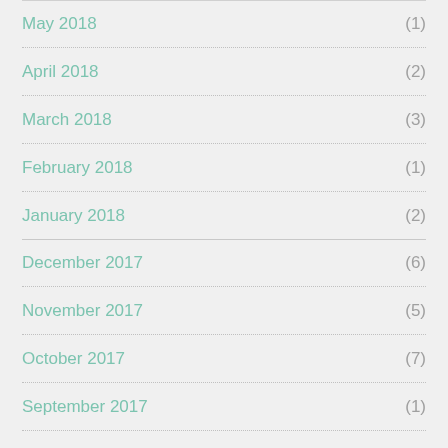May 2018 (1)
April 2018 (2)
March 2018 (3)
February 2018 (1)
January 2018 (2)
December 2017 (6)
November 2017 (5)
October 2017 (7)
September 2017 (1)